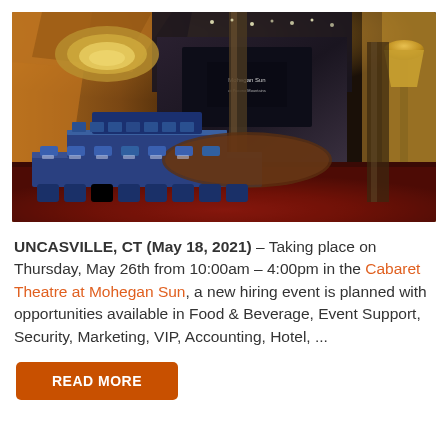[Figure (photo): Interior photo of the Cabaret Theatre at Mohegan Sun, showing a large entertainment venue with blue-draped tables arranged in a horseshoe/conference style on a patterned red carpet, ornate gold ceiling fixture, stage with screens, and decorative columns and lamps.]
UNCASVILLE, CT (May 18, 2021) – Taking place on Thursday, May 26th from 10:00am – 4:00pm in the Cabaret Theatre at Mohegan Sun, a new hiring event is planned with opportunities available in Food & Beverage, Event Support, Security, Marketing, VIP, Accounting, Hotel, ...
READ MORE